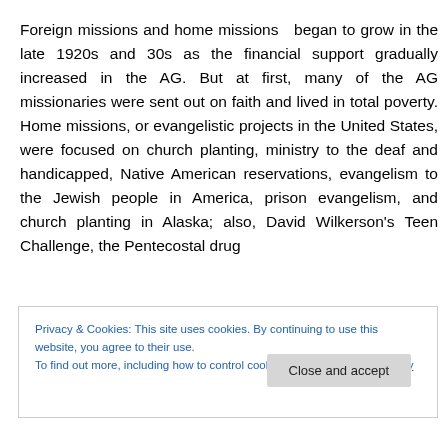Foreign missions and home missions  began to grow in the late 1920s and 30s as the financial support gradually increased in the AG. But at first, many of the AG missionaries were sent out on faith and lived in total poverty. Home missions, or evangelistic projects in the United States, were focused on church planting, ministry to the deaf and handicapped, Native American reservations, evangelism to the Jewish people in America, prison evangelism, and church planting in Alaska; also, David Wilkerson's Teen Challenge, the Pentecostal drug
Privacy & Cookies: This site uses cookies. By continuing to use this website, you agree to their use.
To find out more, including how to control cookies, see here: Cookie Policy